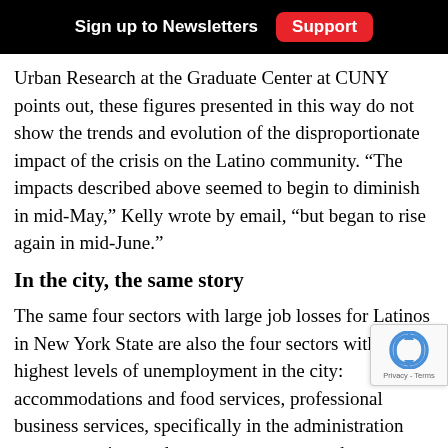Sign up to Newsletters  Support
Urban Research at the Graduate Center at CUNY points out, these figures presented in this way do not show the trends and evolution of the disproportionate impact of the crisis on the Latino community. “The impacts described above seemed to begin to diminish in mid-May,” Kelly wrote by email, “but began to rise again in mid-June.”
In the city, the same story
The same four sectors with large job losses for Latinos in New York State are also the four sectors with the highest levels of unemployment in the city: accommodations and food services, professional business services, specifically in the administration support services and waste management sub-sector